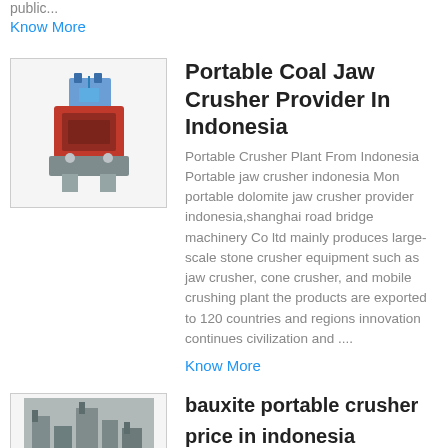public...
Know More
[Figure (photo): Image of a portable jaw crusher machine]
Portable Coal Jaw Crusher Provider In Indonesia
Portable Crusher Plant From Indonesia Portable jaw crusher indonesia Mon portable dolomite jaw crusher provider indonesia,shanghai road bridge machinery Co ltd mainly produces large-scale stone crusher equipment such as jaw crusher, cone crusher, and mobile crushing plant the products are exported to 120 countries and regions innovation continues civilization and ....
Know More
[Figure (photo): Image of a bauxite portable crusher facility]
bauxite portable crusher price in indonesia